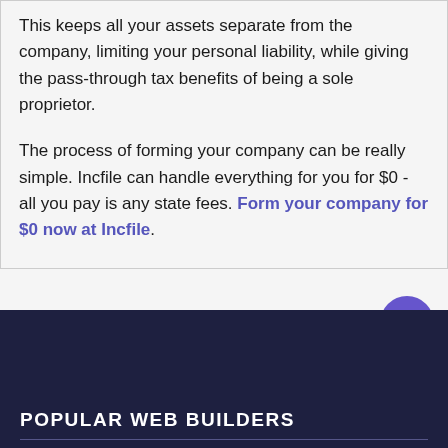This keeps all your assets separate from the company, limiting your personal liability, while giving the pass-through tax benefits of being a sole proprietor.
The process of forming your company can be really simple. Incfile can handle everything for you for $0 - all you pay is any state fees. Form your company for $0 now at Incfile.
POPULAR WEB BUILDERS